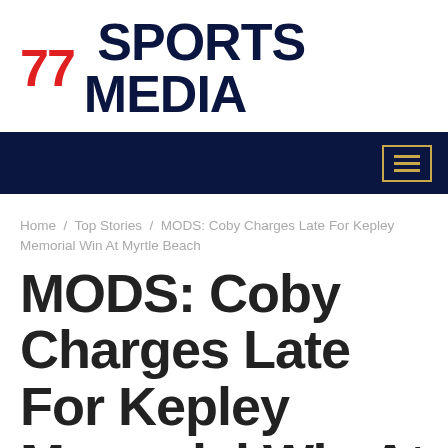77 SPORTS MEDIA
Home / Top Stories / MODS: Coby Charges Late For Kepley Memorial Win At Myrtle Beach
MODS: Coby Charges Late For Kepley Memorial Win At Myrtle Beach